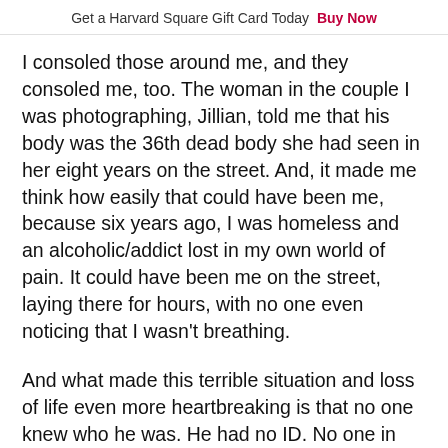Get a Harvard Square Gift Card Today  Buy Now
I consoled those around me, and they consoled me, too. The woman in the couple I was photographing, Jillian, told me that his body was the 36th dead body she had seen in her eight years on the street. And, it made me think how easily that could have been me, because six years ago, I was homeless and an alcoholic/addict lost in my own world of pain. It could have been me on the street, laying there for hours, with no one even noticing that I wasn't breathing.
And what made this terrible situation and loss of life even more heartbreaking is that no one knew who he was. He had no ID. No one in the unhoused community could give me more than a name they thought he had told them: Michael. He was